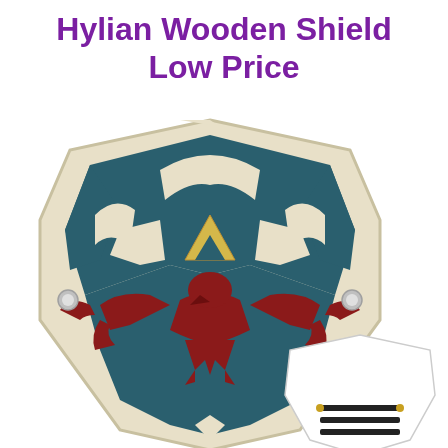Hylian Wooden Shield Low Price
[Figure (photo): Two Hylian wooden shields from Legend of Zelda. The main large shield has a cream/beige background with dark teal blue decorative design featuring wing patterns and a red eagle/bird emblem, with a triforce triangle in gold/yellow, and metal rivets on the sides. A smaller white shield is partially visible in the bottom right corner.]